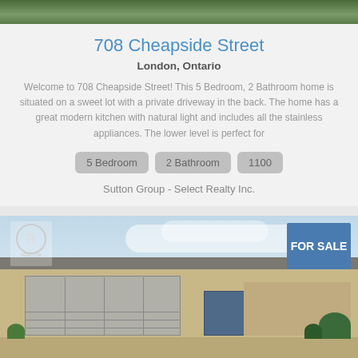[Figure (photo): Aerial/exterior view of property at top of page (partially visible, green landscape)]
708 Cheapside Street
London, Ontario
Welcome to 708 Cheapside Street! This 5 Bedroom, 2 Bathroom home is situated on a sweet lot with a private driveway in the back. The home has a great modern kitchen with natural light and includes all the stainless appliances. The lower level is perfect for
5 Bedroom   2 Bathroom   1100
Sutton Group - Select Realty Inc.
[Figure (photo): Exterior photo of a brick bungalow house with double garage door, For Sale sign in top right corner, REALTOR logo in top left corner, blue sky with clouds in background]